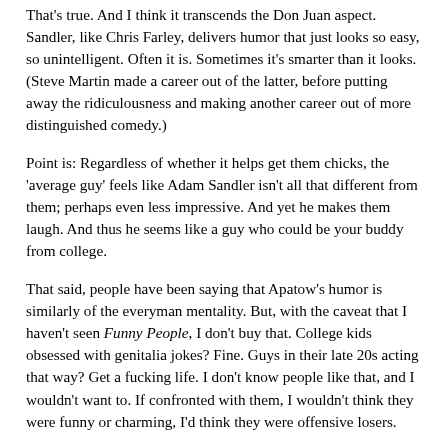That's true. And I think it transcends the Don Juan aspect. Sandler, like Chris Farley, delivers humor that just looks so easy, so unintelligent. Often it is. Sometimes it's smarter than it looks. (Steve Martin made a career out of the latter, before putting away the ridiculousness and making another career out of more distinguished comedy.)
Point is: Regardless of whether it helps get them chicks, the 'average guy' feels like Adam Sandler isn't all that different from them; perhaps even less impressive. And yet he makes them laugh. And thus he seems like a guy who could be your buddy from college.
That said, people have been saying that Apatow's humor is similarly of the everyman mentality. But, with the caveat that I haven't seen Funny People, I don't buy that. College kids obsessed with genitalia jokes? Fine. Guys in their late 20s acting that way? Get a fucking life. I don't know people like that, and I wouldn't want to. If confronted with them, I wouldn't think they were funny or charming, I'd think they were offensive losers.